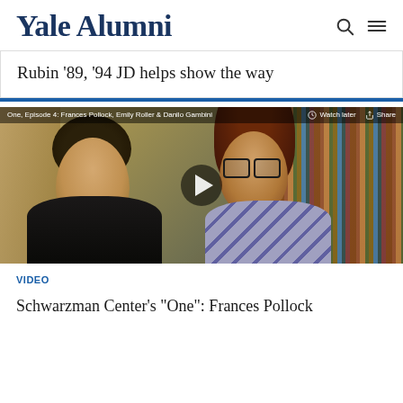Yale Alumni
Rubin ’89, ’94 JD helps show the way
[Figure (screenshot): Video thumbnail showing two people (Frances Pollock, Emily Roller & Danilo Gambini) from the web series 'One', Episode 4, with a bookshelf background. Overlaid play button and YouTube-style watch later/share controls visible.]
VIDEO
Schwarzman Center’s “One”: Frances Pollock